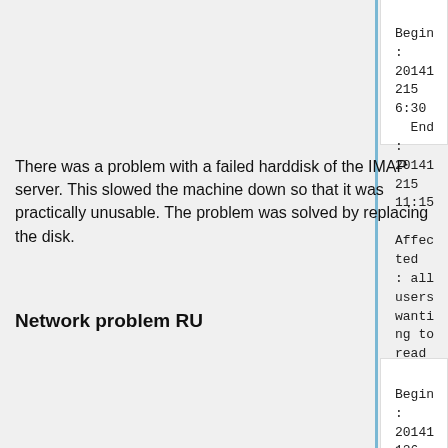Begin         : 20141215 6:30
  End           : 20141215 11:15
  Affected      : all users wanting to read Science mail
There was a problem with a failed harddisk of the IMAP server. This slowed the machine down so that it was practically unusable. The problem was solved by replacing the disk.
Network problem RU
Begin         : 20141126 09:45
  End           : 20141126 10:00
  Affected      : all users of the network at RU